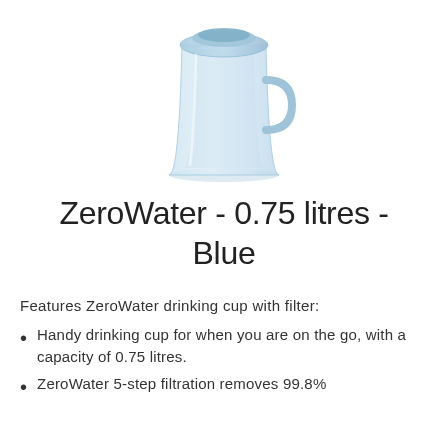[Figure (photo): A light blue ZeroWater drinking cup/pitcher with filter, shown from above on a white background. The cup has a blue-tinted translucent body with a handle on the right side.]
ZeroWater - 0.75 litres - Blue
Features ZeroWater drinking cup with filter:
Handy drinking cup for when you are on the go, with a capacity of 0.75 litres.
ZeroWater 5-step filtration removes 99.8%